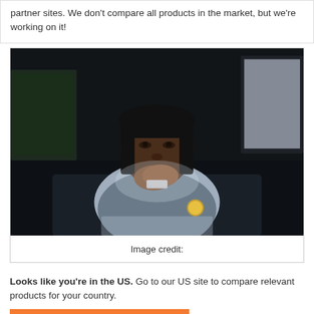partner sites. We don't compare all products in the market, but we're working on it!
[Figure (photo): A woman in a grey uniform jacket with a patch on the sleeve, sitting with her hands clasped, looking upward thoughtfully, with dark background and screens visible behind her.]
Image credit:
Looks like you're in the US. Go to our US site to compare relevant products for your country.
Go to Finder US
No, stay on this page